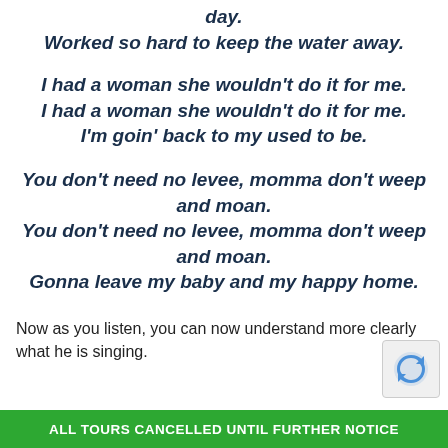day.
Worked so hard to keep the water away.
I had a woman she wouldn’t do it for me.
I had a woman she wouldn’t do it for me.
I’m goin’ back to my used to be.
You don’t need no levee, momma don’t weep and moan.
You don’t need no levee, momma don’t weep and moan.
Gonna leave my baby and my happy home.
Now as you listen, you can now understand more clearly what he is singing.
ALL TOURS CANCELLED UNTIL FURTHER NOTICE